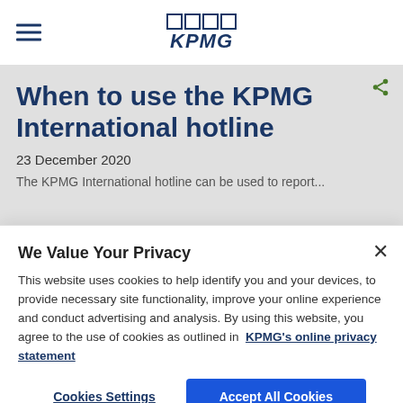KPMG
When to use the KPMG International hotline
23 December 2020
We Value Your Privacy
This website uses cookies to help identify you and your devices, to provide necessary site functionality, improve your online experience and conduct advertising and analysis. By using this website, you agree to the use of cookies as outlined in KPMG's online privacy statement
Cookies Settings
Accept All Cookies